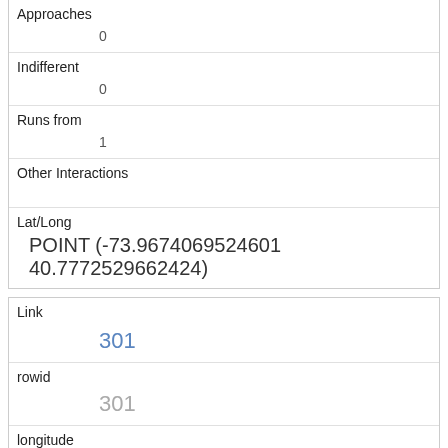| Approaches | 0 |
| Indifferent | 0 |
| Runs from | 1 |
| Other Interactions |  |
| Lat/Long | POINT (-73.9674069524601 40.7772529662424) |
| Link | 301 |
| rowid | 301 |
| longitude | -73.9717425494287 |
| latitude | 40.7664227676653 |
| Unique Squirrel ID |  |